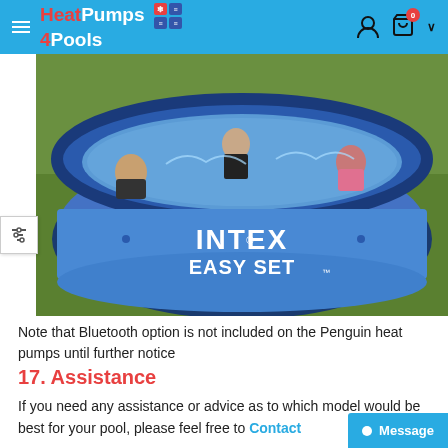HeatPumps4Pools
[Figure (photo): Children playing in an Intex Easy Set inflatable above-ground pool outdoors on grass. The blue circular pool has 'INTEX EASY SET' printed on the side.]
Note that Bluetooth option is not included on the Penguin heat pumps until further notice
17. Assistance
If you need any assistance or advice as to which model would be best for your pool, please feel free to Contact